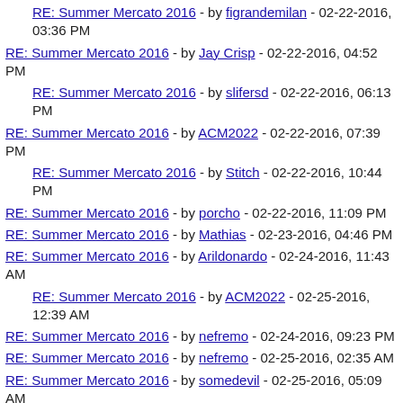RE: Summer Mercato 2016 - by figrandemilan - 02-22-2016, 03:36 PM
RE: Summer Mercato 2016 - by Jay Crisp - 02-22-2016, 04:52 PM
RE: Summer Mercato 2016 - by slifersd - 02-22-2016, 06:13 PM
RE: Summer Mercato 2016 - by ACM2022 - 02-22-2016, 07:39 PM
RE: Summer Mercato 2016 - by Stitch - 02-22-2016, 10:44 PM
RE: Summer Mercato 2016 - by porcho - 02-22-2016, 11:09 PM
RE: Summer Mercato 2016 - by Mathias - 02-23-2016, 04:46 PM
RE: Summer Mercato 2016 - by Arildonardo - 02-24-2016, 11:43 AM
RE: Summer Mercato 2016 - by ACM2022 - 02-25-2016, 12:39 AM
RE: Summer Mercato 2016 - by nefremo - 02-24-2016, 09:23 PM
RE: Summer Mercato 2016 - by nefremo - 02-25-2016, 02:35 AM
RE: Summer Mercato 2016 - by somedevil - 02-25-2016, 05:09 AM
RE: Summer Mercato 2016 - by AlanR - 02-26-2016, 03:24 PM